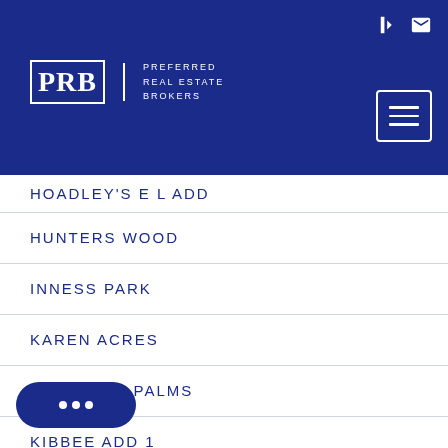Preferred Real Estate Brokers
HOADLEY'S E L ADD
HUNTERS WOOD
INNESS PARK
KAREN ACRES
KEYSTONE PALMS
KIBBEE ADD 1
KIBBEE SUB
...LER VILLA COS SUB